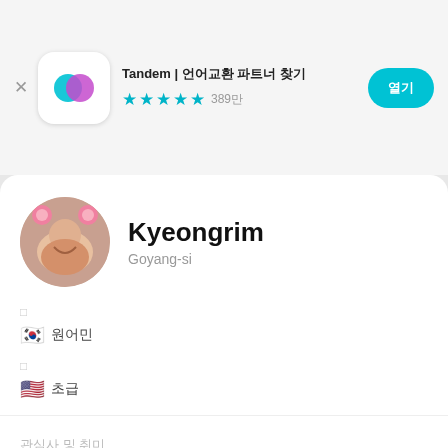Tandem | 언어교환 파트너 찾기  ★★★★½ 389만
[Figure (photo): Tandem app logo: two overlapping chat bubble shapes in teal and pink/magenta on white rounded square background]
열기
[Figure (photo): Profile photo of Kyeongrim: young woman with pink mouse ears headband, laughing, circular crop]
Kyeongrim
Goyang-si
🇰🇷 원어민
🇺🇸 초급
관심사 및 취미
Music, feelings, bein...더보기